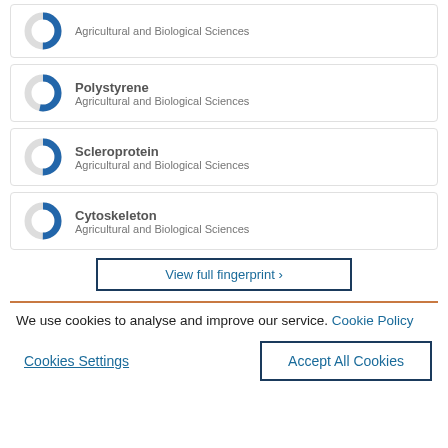[Figure (donut-chart): Partial donut chart with blue fill, approximately 50% filled]
[Figure (donut-chart): Partial donut chart with blue fill, approximately 55% filled]
[Figure (donut-chart): Partial donut chart with blue fill, approximately 50% filled]
[Figure (donut-chart): Partial donut chart with blue fill, approximately 50% filled]
View full fingerprint ›
We use cookies to analyse and improve our service. Cookie Policy
Cookies Settings
Accept All Cookies